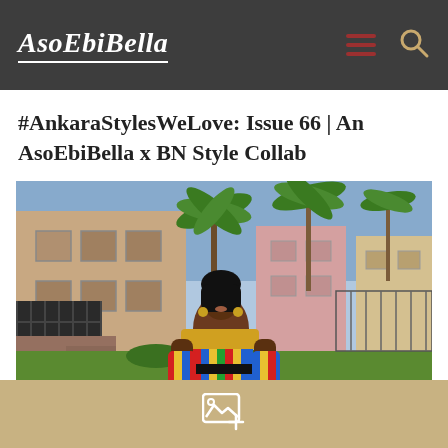AsoEbiBella
#AnkaraStylesWeLove: Issue 66 | An AsoEbiBella x BN Style Collab
[Figure (photo): A woman wearing a colorful Ankara off-shoulder outfit standing outdoors in front of a building with palm trees and iron gates]